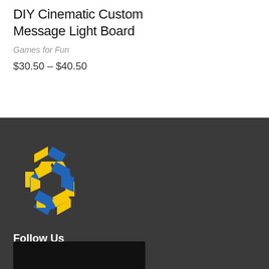DIY Cinematic Custom Message Light Board
Games for Fun
$30.50 – $40.50
[Figure (logo): Circular hexagonal spiral logo in yellow and blue]
Follow Us
[Figure (other): Social media icons: Facebook, Instagram, Pinterest]
Email address
Your email address